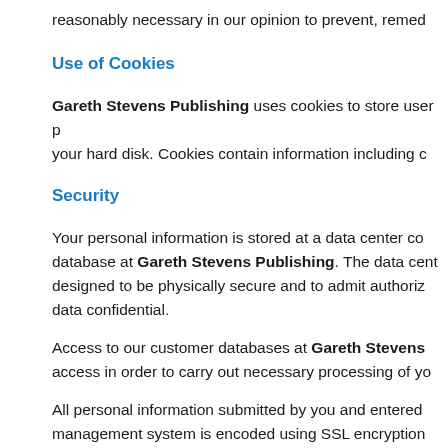reasonably necessary in our opinion to prevent, remed…
Use of Cookies
Gareth Stevens Publishing uses cookies to store user p… your hard disk. Cookies contain information including c…
Security
Your personal information is stored at a data center co… database at Gareth Stevens Publishing. The data cent… designed to be physically secure and to admit authoriz… data confidential.
Access to our customer databases at Gareth Stevens… access in order to carry out necessary processing of yo…
All personal information submitted by you and entered… management system is encoded using SSL encryption…